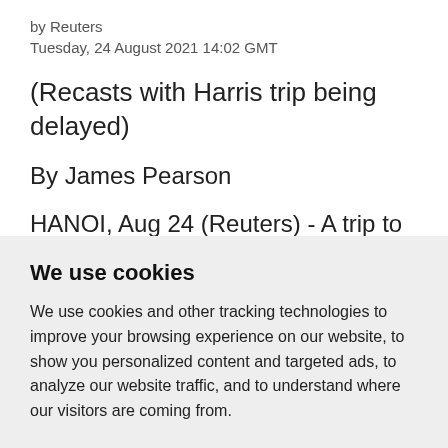by Reuters
Tuesday, 24 August 2021 14:02 GMT
(Recasts with Harris trip being delayed)
By James Pearson
HANOI, Aug 24 (Reuters) - A trip to Vietnam by U.S. Vice President Kamala
We use cookies
We use cookies and other tracking technologies to improve your browsing experience on our website, to show you personalized content and targeted ads, to analyze our website traffic, and to understand where our visitors are coming from.